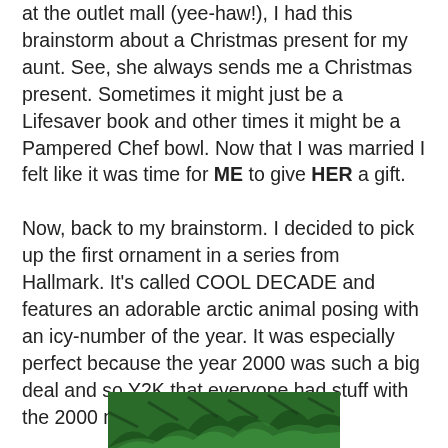at the outlet mall (yee-haw!), I had this brainstorm about a Christmas present for my aunt. See, she always sends me a Christmas present. Sometimes it might just be a Lifesaver book and other times it might be a Pampered Chef bowl. Now that I was married I felt like it was time for ME to give HER a gift.

Now, back to my brainstorm. I decided to pick up the first ornament in a series from Hallmark. It's called COOL DECADE and features an adorable arctic animal posing with an icy-number of the year. It was especially perfect because the year 2000 was such a big deal and so Y2K that everyone had stuff with the 2000 number on it!
[Figure (photo): Partial photo of green Christmas tree branches/foliage at the bottom of the page]